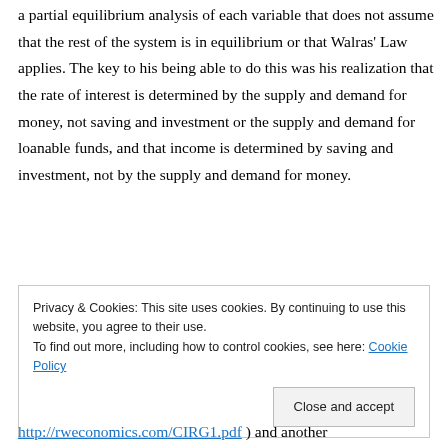a partial equilibrium analysis of each variable that does not assume that the rest of the system is in equilibrium or that Walras' Law applies. The key to his being able to do this was his realization that the rate of interest is determined by the supply and demand for money, not saving and investment or the supply and demand for loanable funds, and that income is determined by saving and investment, not by the supply and demand for money.
Privacy & Cookies: This site uses cookies. By continuing to use this website, you agree to their use.
To find out more, including how to control cookies, see here: Cookie Policy
Close and accept
http://rweconomics.com/CIRG1.pdf ) and another